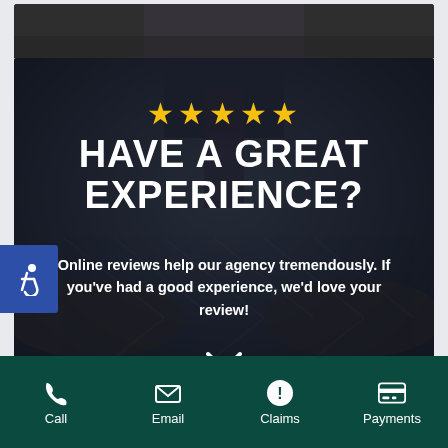[Figure (photo): Dark background photo of a person in a suit and tie with hands extended, partially visible at top and main card area]
HAVE A GREAT EXPERIENCE?
Online reviews help our agency tremendously. If you've had a good experience, we'd love your review!
[Figure (infographic): Bottom navigation bar with Call, Email, Claims, Payments icons on dark teal background]